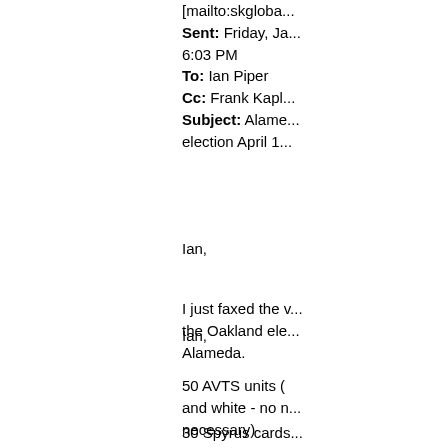[mailto:skgloba...
Sent: Friday, Ja... 6:03 PM
To: Ian Piper
Cc: Frank Kapl...
Subject: Alame... election April 1...
Ian,
I just faxed the ... the Oakland ele... Alameda.
50 AVTS units (... and white - no n... necessary)
30 Spyrus cards... shipped ASAP f... PIEDMONT ele...